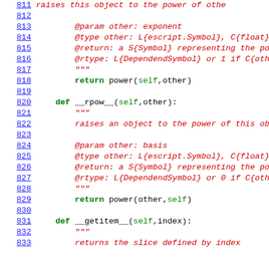Source code listing lines 811-833 of a Python file showing __pow__, __rpow__, and __getitem__ methods
[Figure (screenshot): Python source code listing with line numbers 811-833 showing methods __pow__, __rpow__, __getitem__ with docstrings and return statements]